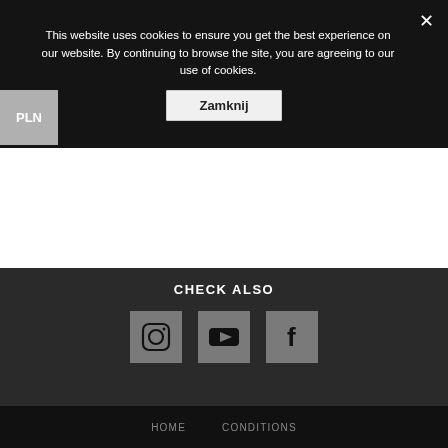This website uses cookies to ensure you get the best experience on our website. By continuing to browse the site, you are agreeing to our use of cookies.
Zamknij
PLN
CHECK ALSO
[Figure (logo): Instagram icon - rounded square with camera outline]
[Figure (logo): YouTube icon - rounded square with play button triangle]
[Figure (logo): Facebook icon - rounded square with letter f]
HOME   CONDITIONS